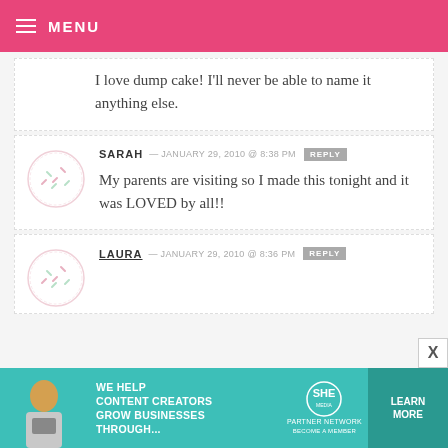MENU
I love dump cake! I'll never be able to name it anything else.
SARAH — JANUARY 29, 2010 @ 8:38 PM REPLY
My parents are visiting so I made this tonight and it was LOVED by all!!
LAURA — JANUARY 29, 2010 @ 8:36 PM REPLY
[Figure (infographic): SHE Partner Network advertisement banner: WE HELP CONTENT CREATORS GROW BUSINESSES THROUGH... with LEARN MORE button]